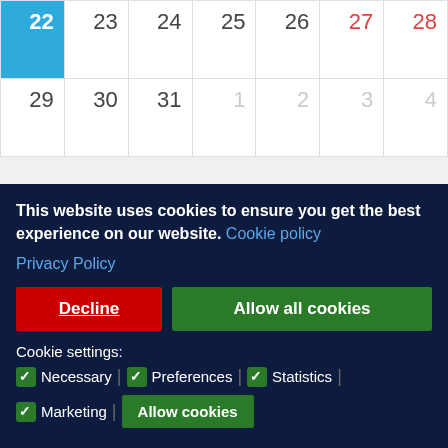| 22 | 23 | 24 | 25 | 26 | 27 | 28 |
| 29 | 30 | 31 | 1 | 2 | 3 | 4 |
search
The content of this website does not necessarily represent the official
This website uses cookies to ensure you get the best experience on our website. Cookie policy
Privacy Policy
Decline
Allow all cookies
Cookie settings:
Necessary | Preferences | Statistics | Marketing | Allow cookies